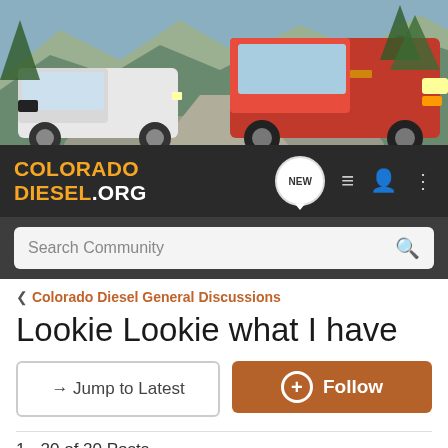[Figure (photo): Banner photo showing two Chevrolet Colorado trucks on a mountain dirt road. A white lifted truck on the left and a red truck on the right, surrounded by pine trees and mountains.]
COLORADO DIESEL.ORG
Search Community
< Colorado Diesel General Discussions
Lookie Lookie what I have
→ Jump to Latest
+ Follow
1 - 20 of 20 Posts
Turbowyo · Registered
Joined Mar 23, 2017 · 103 Posts